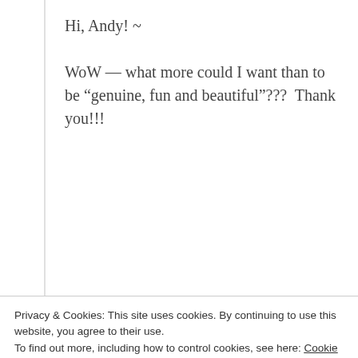Hi, Andy! ~
WoW — what more could I want than to be “genuine, fun and beautiful”???  Thank you!!!
Angie
FEBRUARY 10, 2012 AT 11:50 AM
What a truly awesome read.  I can relate on so many
Privacy & Cookies: This site uses cookies. By continuing to use this website, you agree to their use.
To find out more, including how to control cookies, see here: Cookie Policy
[Figure (infographic): Row of 8 social sharing buttons: Twitter (blue), Pinterest (red), Evernote (green), Telegram (blue), WhatsApp (green), Facebook (blue), LinkedIn (dark blue), Flipboard (dark red)]